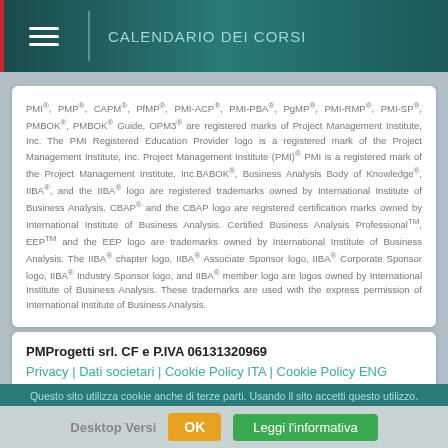CALENDARIO DEI CORSI
PMI®, PMP®, CAPM®, PfMP®, PMI-ACP®, PMI-PBA®, PgMP®, PMI-RMP®, PMI-SP®, PMBOK®, PMBOK® Guide, OPM3® are registered marks of Project Management Institute, Inc. The PMI Registered Education Provider logo is a registered mark of the Project Management Institute, Inc. Project Management Institute (PMI)® PMI is a registered mark of the Project Management Institute, Inc.BABOK®, Business Analysis Body of Knowledge®, IIBA®, and the IIBA® logo are registered trademarks owned by International Institute of Business Analysis. CBAP® and the CBAP logo are registered certification marks owned by International Institute of Business Analysis. Certified Business Analysis ProfessionalTM, EEPTM and the EEP logo are trademarks owned by International Institute of Business Analysis. The IIBA® chapter logo, IIBA® Associate Sponsor logo, IIBA® Corporate Sponsor logo, IIBA® Industry Sponsor logo, and IIBA® member logo are logos owned by International Institute of Business Analysis. These trademarks are used with the express permission of International Institute of Business Analysis.
PMProgetti srl. CF e P.IVA 06131320969
Privacy | Dati societari | Cookie Policy ITA | Cookie Policy ENG
Questo sito utilizza cookie anche di terze parti. Usando il sito accetti questo utilizzo.
Desktop Versi    OK    Leggi l'informativa